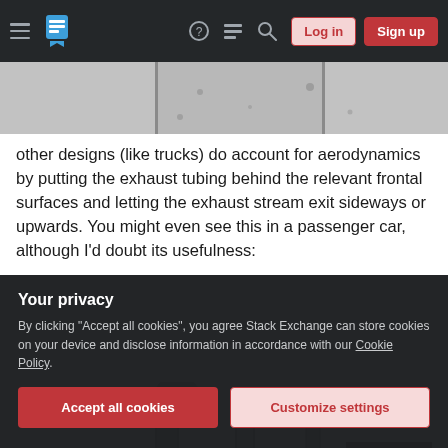Stack Exchange navigation bar with hamburger menu, logo, help, chat, search icons, Log in and Sign up buttons
[Figure (photo): Top portion of a road/pavement photo, cropped at the top of the page]
other designs (like trucks) do account for aerodynamics by putting the exhaust tubing behind the relevant frontal surfaces and letting the exhaust stream exit sideways or upwards. You might even see this in a passenger car, although I'd doubt its usefulness:
[Figure (photo): Photo of upward-facing exhaust pipes on a vehicle against a cloudy sky background]
Your privacy
By clicking "Accept all cookies", you agree Stack Exchange can store cookies on your device and disclose information in accordance with our Cookie Policy.